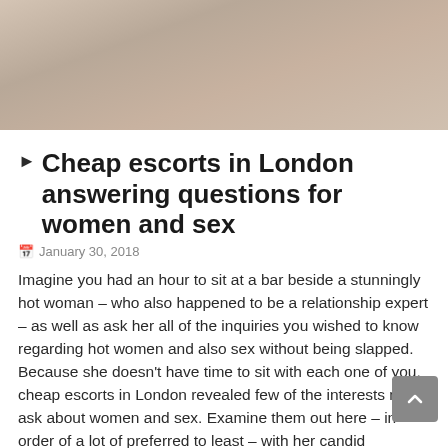[Figure (photo): Close-up photo of a woman wearing fishnet stockings and fur, reclining]
▶ Cheap escorts in London answering questions for women and sex
January 30, 2018
Imagine you had an hour to sit at a bar beside a stunningly hot woman – who also happened to be a relationship expert – as well as ask her all of the inquiries you wished to know regarding hot women and also sex without being slapped. Because she doesn't have time to sit with each one of you, cheap escorts in London revealed few of the interests men ask about women and sex. Examine them out here – in order of a lot of preferred to least – with her candid solutions so you'll understand precisely ways to wage the ladies from cheap escorts in London in your life.
Why she can't finish?